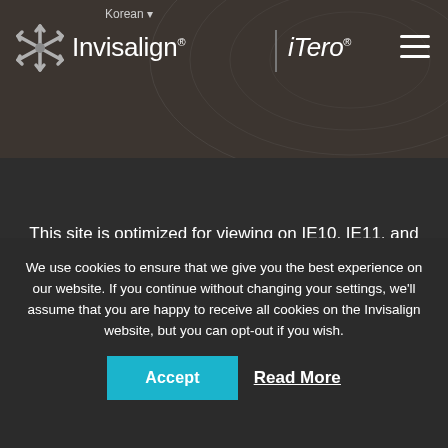Invisalign® | iTero® — Korean
[Figure (screenshot): Partial screenshot of a webpage showing a light grey content area]
This site is optimized for viewing on IE10, IE11, and the latest Chrome, Firefox, Safari and Edge browsers
We use cookies to ensure that we give you the best experience on our website. If you continue without changing your settings, we'll assume that you are happy to receive all cookies on the Invisalign website, but you can opt-out if you wish.
Accept
Read More